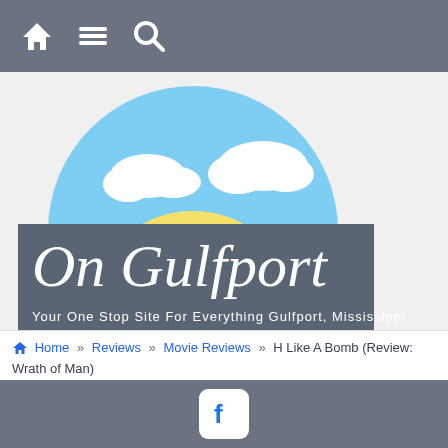Navigation bar with home, menu, and search icons
[Figure (logo): On Gulfport logo — circular sky scene with sun and clouds above, dark grey banner reading 'On Gulfport' in script font, tagline 'Your One Stop Site For Everything Gulfport, Mississippi']
[Figure (logo): ONMetro banner advertisement — 'A Network of More Than 400 Digital Cities Across The United States. Learn more about our rapidly growing network of local Media-Class Publishing Sites OnMetro.com']
Home » Reviews » Movie Reviews » H Like A Bomb (Review: Wrath of Man)
Facebook icon